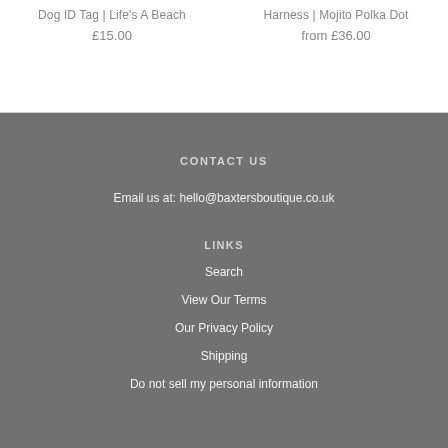Dog ID Tag | Life's A Beach
£15.00
Harness | Mojito Polka Dot
from £36.00
CONTACT US
Email us at: hello@baxtersboutique.co.uk
LINKS
Search
View Our Terms
Our Privacy Policy
Shipping
Do not sell my personal information